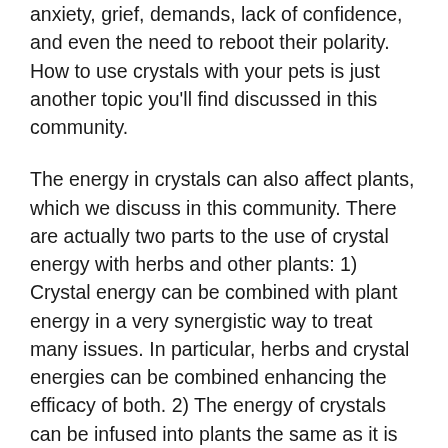anxiety, grief, demands, lack of confidence, and even the need to reboot their polarity. How to use crystals with your pets is just another topic you'll find discussed in this community.
The energy in crystals can also affect plants, which we discuss in this community. There are actually two parts to the use of crystal energy with herbs and other plants: 1) Crystal energy can be combined with plant energy in a very synergistic way to treat many issues. In particular, herbs and crystal energies can be combined enhancing the efficacy of both. 2) The energy of crystals can be infused into plants the same as it is infused into our animal companions and into ourselves. By using crystals and herbs together, we are able to mold the Limitless Energy to assist with our personal needs.